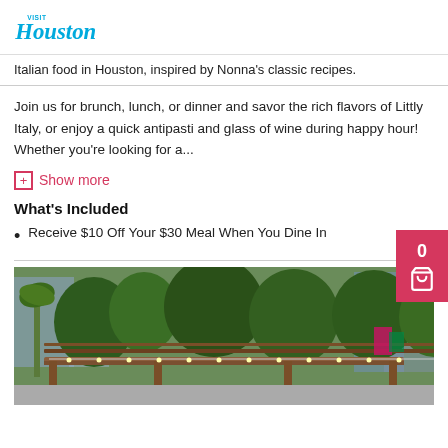VISIT Houston
Italian food in Houston, inspired by Nonna's classic recipes.
Join us for brunch, lunch, or dinner and savor the rich flavors of Littly Italy, or enjoy a quick antipasti and glass of wine during happy hour!
Whether you're looking for a...
+ Show more
What's Included
Receive $10 Off Your $30 Meal When You Dine In
[Figure (photo): Outdoor patio of an Italian restaurant in Houston, showing a wooden pergola with string lights, surrounded by lush green trees and urban buildings in the background.]